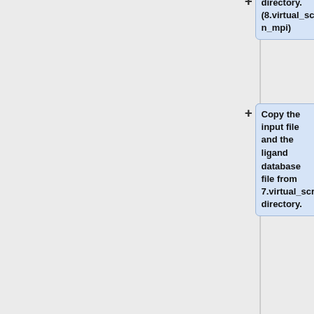directory. (8.virtual_screen_mpi)
Copy the input file and the ligand database file from 7.virtual_screen directory.
To submit the job to the seawulf cluster we are using a new file. (virtual.sh)
vim virtual.sh
Type the following lines in the file.